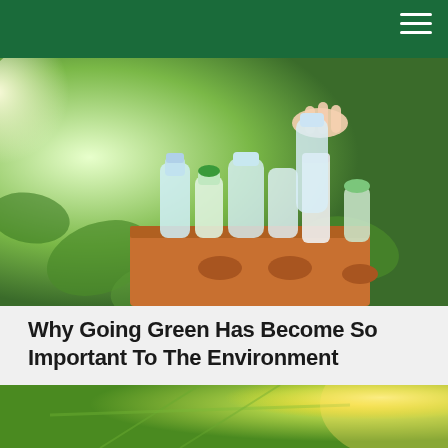[Figure (photo): A hand placing a clear plastic bottle into a cardboard box full of plastic bottles for recycling, surrounded by green plants in a bright garden setting.]
Why Going Green Has Become So Important To The Environment
[Figure (photo): Close-up of a large green leaf with soft sunlight in the background, warm golden-yellow light on the right side.]